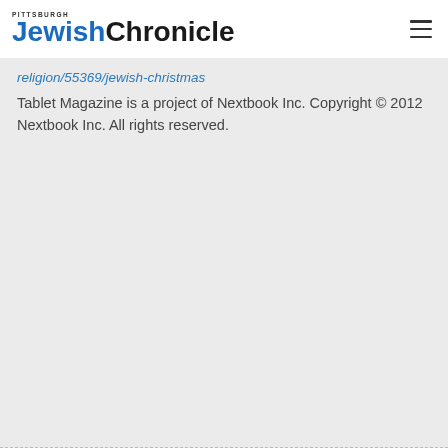Pittsburgh Jewish Chronicle
religion/55369/jewish-christmas
Tablet Magazine is a project of Nextbook Inc. Copyright © 2012 Nextbook Inc. All rights reserved.